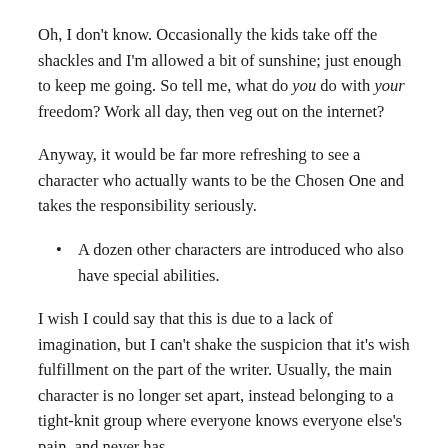Oh, I don't know. Occasionally the kids take off the shackles and I'm allowed a bit of sunshine; just enough to keep me going. So tell me, what do you do with your freedom? Work all day, then veg out on the internet?
Anyway, it would be far more refreshing to see a character who actually wants to be the Chosen One and takes the responsibility seriously.
A dozen other characters are introduced who also have special abilities.
I wish I could say that this is due to a lack of imagination, but I can't shake the suspicion that it's wish fulfillment on the part of the writer. Usually, the main character is no longer set apart, instead belonging to a tight-knit group where everyone knows everyone else's pain, and never has